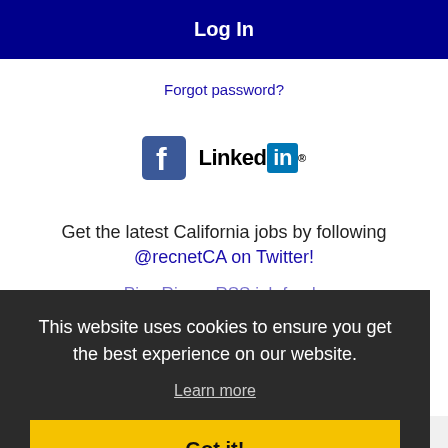Log In
Forgot password?
[Figure (logo): Facebook logo icon and LinkedIn logo side by side]
Get the latest California jobs by following @recnetCA on Twitter!
Pico Rivera RSS job feeds
This website uses cookies to ensure you get the best experience on our website.
Learn more
Got it!
JOB SEEKERS
Search Pico Rivera jobs